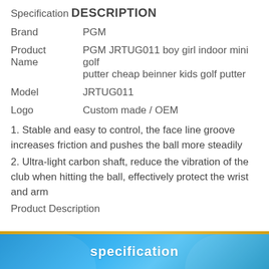Specification
DESCRIPTION
| Field | Value |
| --- | --- |
| Brand | PGM |
| Product Name | PGM JRTUG011 boy girl indoor mini golf putter cheap beinner kids golf putter |
| Model | JRTUG011 |
| Logo | Custom made / OEM |
1. Stable and easy to control, the face line groove increases friction and pushes the ball more steadily
2. Ultra-light carbon shaft, reduce the vibration of the club when hitting the ball, effectively protect the wrist and arm
Product Description
[Figure (other): Blue banner with 'specification' text in bold white on gradient blue background with gold top border line]